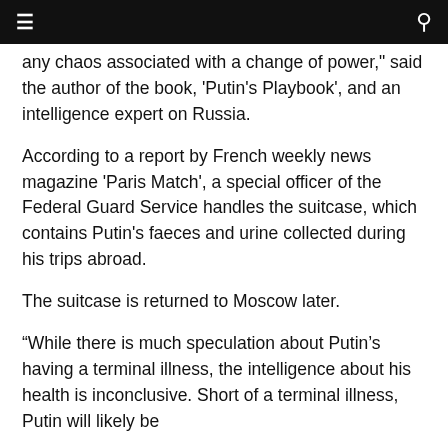Navigation bar with menu and search icons
any chaos associated with a change of power," said the author of the book, 'Putin's Playbook', and an intelligence expert on Russia.
According to a report by French weekly news magazine 'Paris Match', a special officer of the Federal Guard Service handles the suitcase, which contains Putin's faeces and urine collected during his trips abroad.
The suitcase is returned to Moscow later.
“While there is much speculation about Putin’s having a terminal illness, the intelligence about his health is inconclusive. Short of a terminal illness, Putin will likely be